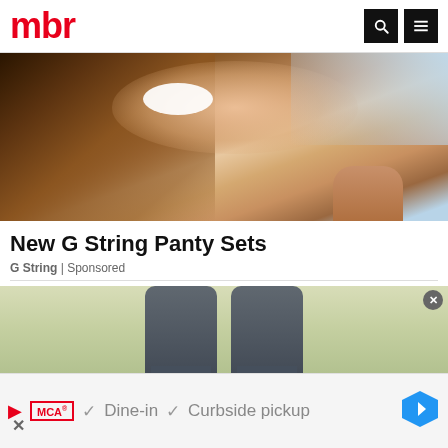mbr
[Figure (photo): Close-up photo of a smiling woman with brown hair and a black top]
New G String Panty Sets
G String | Sponsored
[Figure (photo): Photo of a person wearing grey pants/trousers, cropped to show legs from waist down]
Dine-in   Curbside pickup